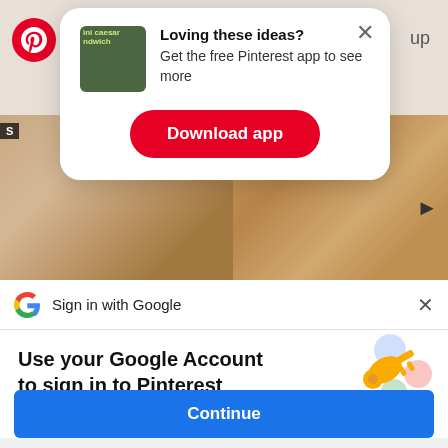[Figure (screenshot): Pinterest app page background with food images (bread/salad) and Pinterest logo]
[Figure (infographic): Modal popup: 'Loving these ideas? Get the free Pinterest app to see more' with a thumbnail of mini caesar sandwich and a red 'Download app' button]
Loving these ideas?
Get the free Pinterest app to see more
Download app
[Figure (infographic): Google Sign-In bar with Google G logo and text 'Sign in with Google']
Sign in with Google
Use your Google Account to sign in to Pinterest
No more passwords to remember. Signing in is fast, simple and secure.
[Figure (illustration): Google account illustration with a key and colored circles]
Continue